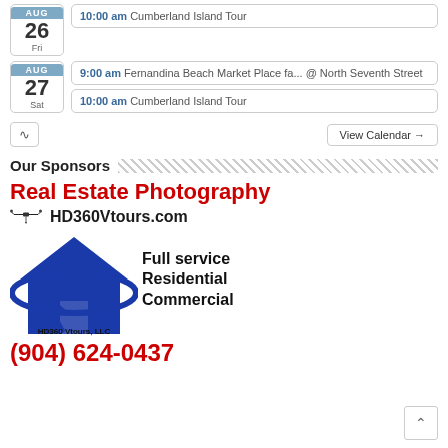AUG 26 Fri — 10:00 am Cumberland Island Tour
AUG 27 Sat — 9:00 am Fernandina Beach Market Place fa... @ North Seventh Street
AUG 27 Sat — 10:00 am Cumberland Island Tour
RSS | View Calendar →
Our Sponsors
[Figure (illustration): HD360Vtours.com advertisement. Red bold text: Real Estate Photography. Below: HD360Vtours.com in bold black. Logo of a blue house with a drone silhouette and a person with camera. Text: Full service Residential Commercial. Phone number in red: (904) 624-0437. Company name: HD360 Vtours, LLC.]